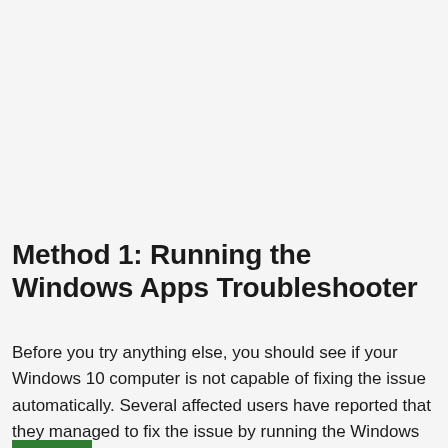Method 1: Running the Windows Apps Troubleshooter
Before you try anything else, you should see if your Windows 10 computer is not capable of fixing the issue automatically. Several affected users have reported that they managed to fix the issue by running the Windows Apps Troubleshooter and applying the recommended fix.